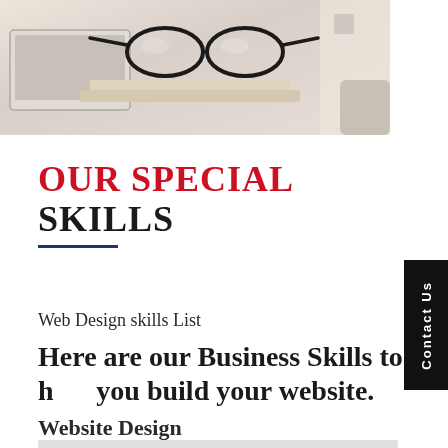[Figure (photo): Photo showing glasses resting on an open book, with a laptop in the background on a desk]
OUR SPECIAL SKILLS
Web Design skills List
Here are our Business Skills to help you build your website.
Website Design